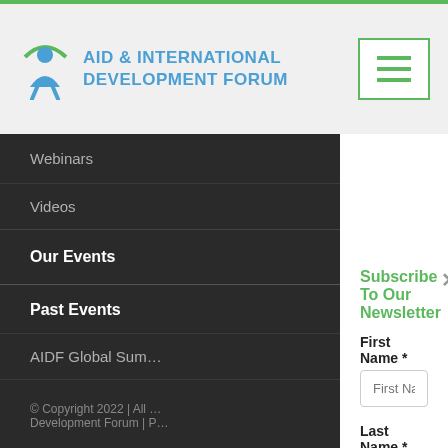[Figure (logo): Aid & International Development Forum logo with eye/person icon]
Webinars
Videos
Our Events
Past Events
AIDF Global Sum…
AIDF Africa Sum…
© Copyright 2022 | All … Development Forum | P…
Subscribe To Our Newsletter
First Name *
Last Name *
Email *
Organisation *